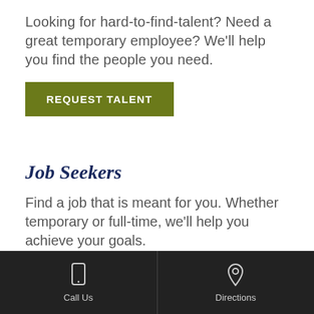Looking for hard-to-find-talent?  Need a great temporary employee?  We'll help you find the people you need.
[Figure (other): Green button with white bold uppercase text: REQUEST TALENT]
Job Seekers
Find a job that is meant for you. Whether temporary or full-time, we'll help you achieve your goals.
[Figure (other): Green button with white bold uppercase text: SEARCH JOBS, and a scroll-to-top button with chevron icon on right]
Call Us   Directions